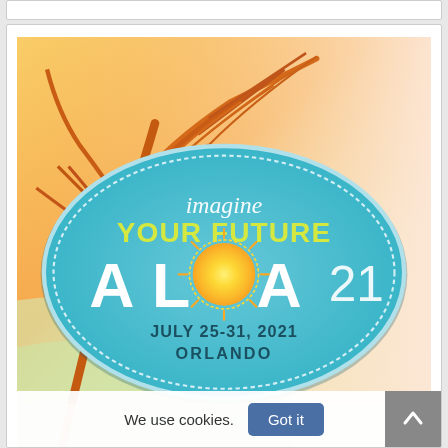[Figure (illustration): ALOA 21 conference promotional image with palm trees in orange/yellow tones, a teal oval logo reading 'imagine YOUR FUTURE ALOA 21', dated July 25-31, 2021, Orlando, at Caribe Royale, Orlando, Florida]
We use cookies.
Got it